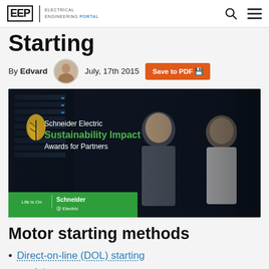EEP | ELECTRICAL ENGINEERING PORTAL
Starting
By Edvard   July, 17th 2015   Save to PDF
[Figure (photo): Schneider Electric Sustainability Impact Awards for Partners advertisement banner showing two professionals in a data center]
Motor starting methods
Direct-on-line (DOL) starting
Advantages